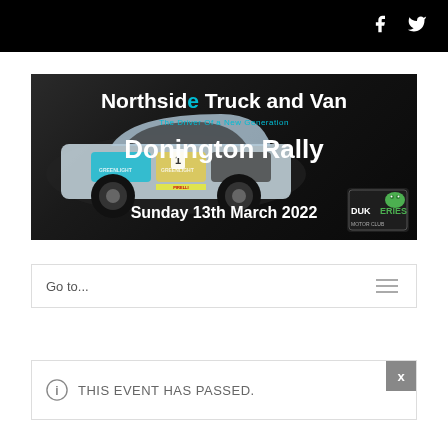Social media icons: Facebook, Twitter
[Figure (illustration): Northside Truck and Van Donington Rally event banner with rally car image. Text: 'Northside Truck and Van', 'The Driver Of a New Generation', 'Donington Rally', 'Sunday 13th March 2022', Dukeries Motor Club logo.]
Go to...
THIS EVENT HAS PASSED.